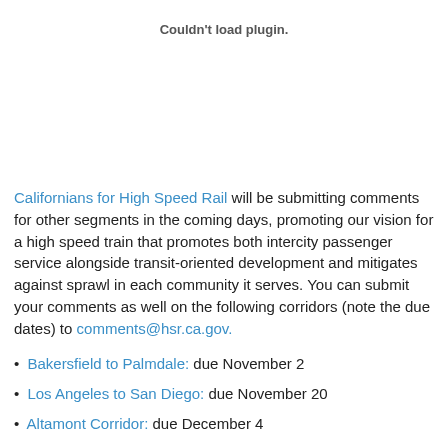Couldn't load plugin.
Californians for High Speed Rail will be submitting comments for other segments in the coming days, promoting our vision for a high speed train that promotes both intercity passenger service alongside transit-oriented development and mitigates against sprawl in each community it serves. You can submit your comments as well on the following corridors (note the due dates) to comments@hsr.ca.gov.
Bakersfield to Palmdale: due November 2
Los Angeles to San Diego: due November 20
Altamont Corridor: due December 4
We'll try and keep you apprised of other comment deadlines...